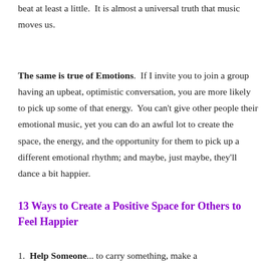beat at least a little.  It is almost a universal truth that music moves us.
The same is true of Emotions.  If I invite you to join a group having an upbeat, optimistic conversation, you are more likely to pick up some of that energy.  You can't give other people their emotional music, yet you can do an awful lot to create the space, the energy, and the opportunity for them to pick up a different emotional rhythm; and maybe, just maybe, they'll dance a bit happier.
13 Ways to Create a Positive Space for Others to Feel Happier
Help Someone... to carry something, make a